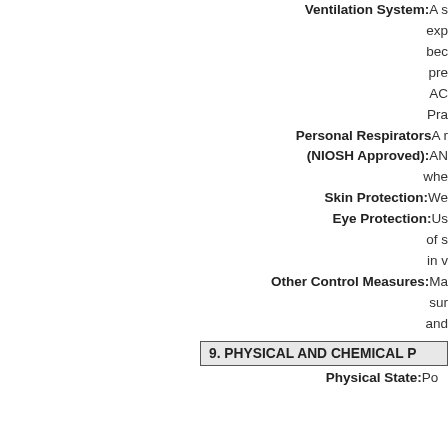Ventilation System: A s...
exp...
bec...
pre...
AC...
Pra...
Personal Respirators: A r...
(NIOSH Approved): AN...
whe...
Skin Protection: We...
Eye Protection: Us...
of s...
in w...
Other Control Measures: Ma...
sur...
and...
9. PHYSICAL AND CHEMICAL P...
Physical State: Po...